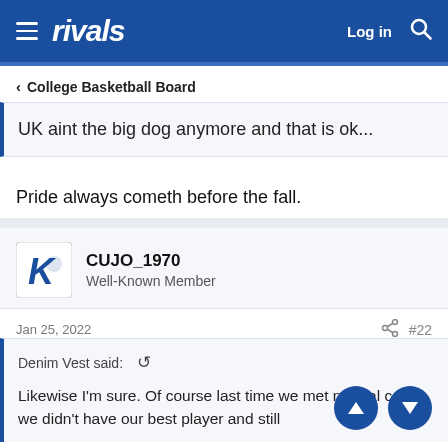rivals  Log in
< College Basketball Board
UK aint the big dog anymore and that is ok...
Pride always cometh before the fall.
CUJO_1970
Well-Known Member
Jan 25, 2022  #22
Denim Vest said:
Likewise I'm sure. Of course last time we met neutral court we didn't have our best player and still